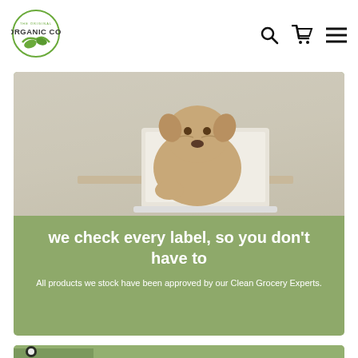[Figure (logo): The Original Organic Co. circular logo with leaf design]
[Figure (illustration): Navigation icons: search, cart, hamburger menu]
[Figure (photo): Photo of a bulldog sitting at a laptop computer on a green card background]
we check every label, so you don't have to
All products we stock have been approved by our Clean Grocery Experts.
[Figure (photo): Photo of a bearded man in red plaid holding a Fresh sign next to an Organic Co. delivery van, with a chat bubble icon overlay]